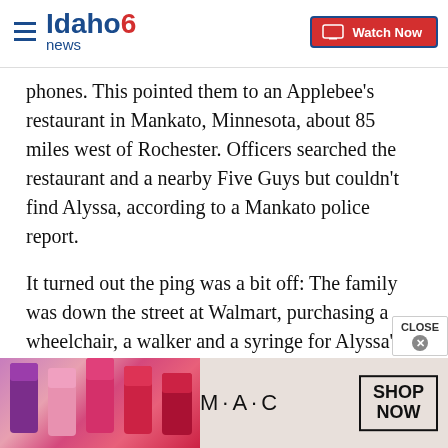Idaho News 6 — Watch Now
phones. This pointed them to an Applebee's restaurant in Mankato, Minnesota, about 85 miles west of Rochester. Officers searched the restaurant and a nearby Five Guys but couldn't find Alyssa, according to a Mankato police report.
It turned out the ping was a bit off: The family was down the street at Walmart, purchasing a wheelchair, a walker and a syringe for Alyssa's feeding tube, which Duane says he'd been trained to use. They then checked into a nearby hotel.
[Figure (photo): MAC cosmetics advertisement banner showing lipsticks and MAC logo with 'Shop Now' button]